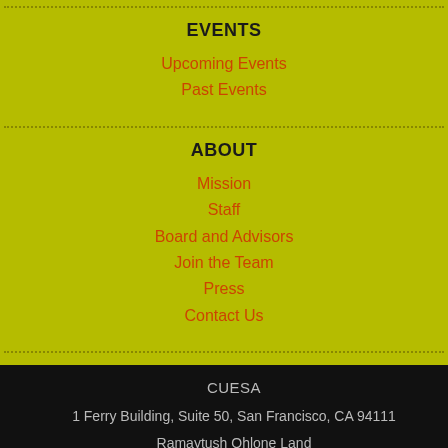EVENTS
Upcoming Events
Past Events
ABOUT
Mission
Staff
Board and Advisors
Join the Team
Press
Contact Us
CUESA
1 Ferry Building, Suite 50, San Francisco, CA 94111
Ramaytush Ohlone Land